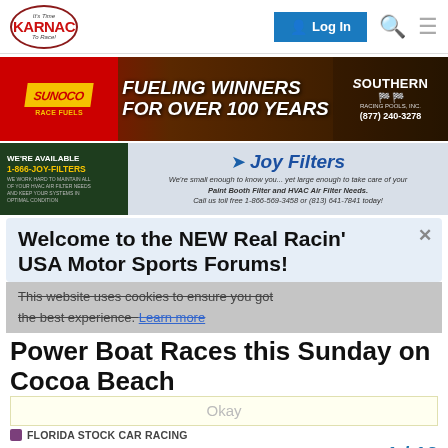KARNAC - It's Time To Race! | Log In
[Figure (photo): Sunoco Race Fuels advertisement banner: 'FUELING WINNERS FOR OVER 100 YEARS' with race car and Southern Racing Pools Inc. (877) 240-3278]
[Figure (photo): Joy Filters advertisement banner: 'WE'RE AVAILABLE 1-866-JOY-FILTERS' with tagline 'We're small enough to know you... yet large enough to take care of your Paint Booth Filter and HVAC Air Filter Needs. Call us toll free 1-866-569-3458 or (813) 641-7841 today!']
Welcome to the NEW Real Racin' USA Motor Sports Forums!
This website uses cookies to ensure you got the best experience. Learn more
Power Boat Races this Sunday on Cocoa Beach
FLORIDA STOCK CAR RACING
KARNAC's FLORIDA STOCK CAR RACING
1 / 12